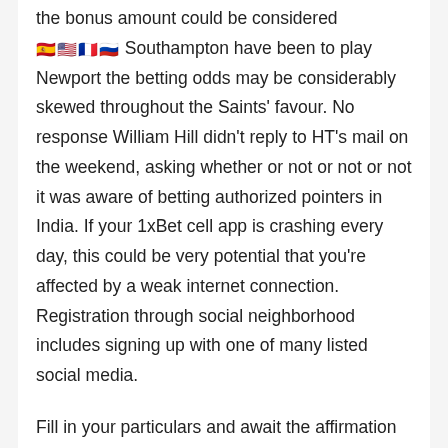the bonus amount could be considered 🇪🇸🇺🇸🇫🇷🇷🇺 Southampton have been to play Newport the betting odds may be considerably skewed throughout the Saints' favour. No response William Hill didn't reply to HT's mail on the weekend, asking whether or not or not or not it was aware of betting authorized pointers in India. If your 1xBet cell app is crashing every day, this could be very potential that you're affected by a weak internet connection. Registration through social neighborhood includes signing up with one of many listed social media.
Fill in your particulars and await the affirmation code to be dispatched to your phone. That is why